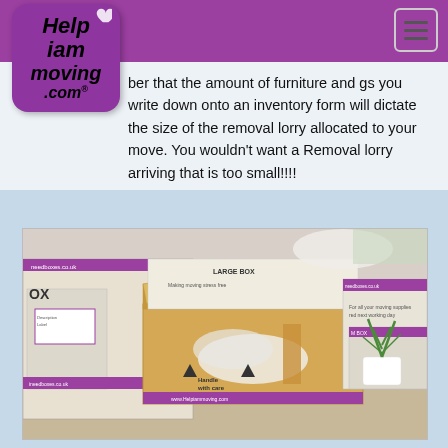Help I Am Moving .com (logo) — navigation header with hamburger menu
ber that the amount of furniture and gs you write down onto an inventory form will dictate the size of the removal lorry allocated to your move. You wouldn't want a Removal lorry arriving that is too small!!!!
[Figure (photo): Photo of moving boxes including a large cardboard box with 'LARGE BOX', 'Handle with care' labels and www.Helpiammoving.com branding, along with packing materials and a plant in a white pot on a table]